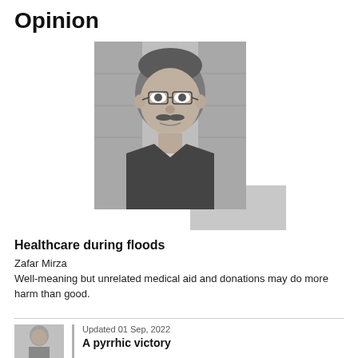Opinion
[Figure (photo): Black and white portrait photo of a middle-aged man with glasses and a mustache, wearing a suit and tie, with bookshelves in the background. Decorative grey rectangular accents behind the photo.]
Healthcare during floods
Zafar Mirza
Well-meaning but unrelated medical aid and donations may do more harm than good.
[Figure (photo): Small black and white portrait photo of a man.]
Updated 01 Sep, 2022
A pyrrhic victory